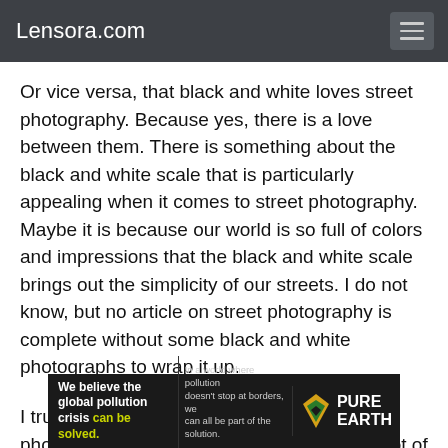Lensora.com
Or vice versa, that black and white loves street photography. Because yes, there is a love between them. There is something about the black and white scale that is particularly appealing when it comes to street photography. Maybe it is because our world is so full of colors and impressions that the black and white scale brings out the simplicity of our streets. I do not know, but no article on street photography is complete without some black and white photographs to wrap it up.
I truly hope that this article on street photography in Parachinar has given you a lot of joy, ideas and tips. So, time to leave the sofa and hit the streets. Enjoy!
[Figure (other): Advertisement banner for Pure Earth: 'We believe the global pollution crisis can be solved. In a world where pollution doesn't stop at borders, we can all be part of the solution. JOIN US.' with Pure Earth logo.]